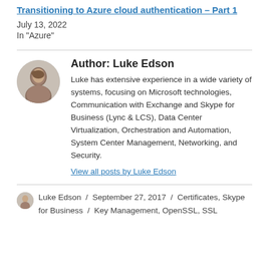Transitioning to Azure cloud authentication – Part 1
July 13, 2022
In "Azure"
Author: Luke Edson
Luke has extensive experience in a wide variety of systems, focusing on Microsoft technologies, Communication with Exchange and Skype for Business (Lync & LCS), Data Center Virtualization, Orchestration and Automation, System Center Management, Networking, and Security.
View all posts by Luke Edson
Luke Edson / September 27, 2017 / Certificates, Skype for Business / Key Management, OpenSSL, SSL